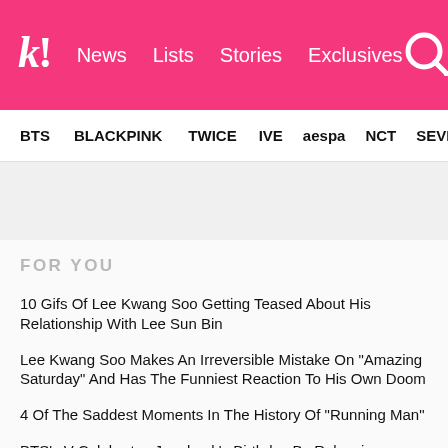k! News Lists Stories Exclusives
BTS BLACKPINK TWICE IVE aespa NCT SEVE
FOR YOU
10 Gifs Of Lee Kwang Soo Getting Teased About His Relationship With Lee Sun Bin
Lee Kwang Soo Makes An Irreversible Mistake On "Amazing Saturday" And Has The Funniest Reaction To His Own Doom
4 Of The Saddest Moments In The History Of "Running Man"
BTS's V Celebrates Jungkook's Birthday By Releasing Footage Of The Highly Anticipated Sparring Match Between The Two